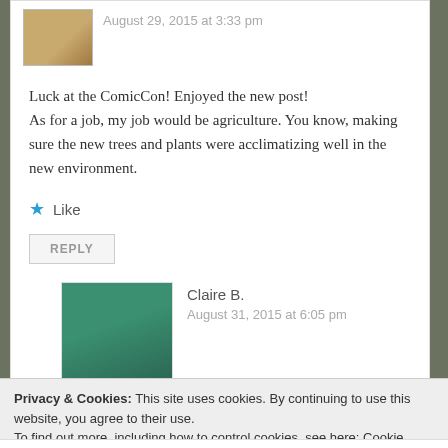August 29, 2015 at 3:33 pm
Luck at the ComicCon! Enjoyed the new post!
As for a job, my job would be agriculture. You know, making sure the new trees and plants were acclimatizing well in the new environment.
Like
REPLY
Claire B.
August 31, 2015 at 6:05 pm
Privacy & Cookies: This site uses cookies. By continuing to use this website, you agree to their use.
To find out more, including how to control cookies, see here: Cookie Policy
Close and accept